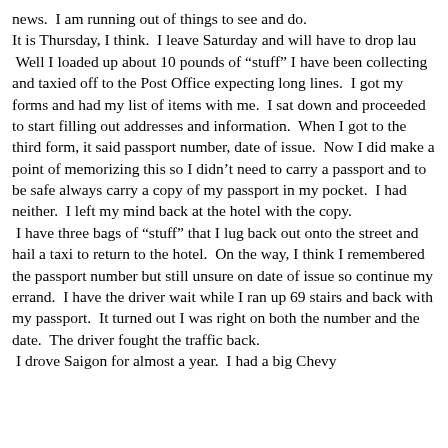news.  I am running out of things to see and do.
It is Thursday, I think.  I leave Saturday and will have to drop lau
 Well I loaded up about 10 pounds of “stuff” I have been collecting and taxied off to the Post Office expecting long lines.  I got my forms and had my list of items with me.  I sat down and proceeded to start filling out addresses and information.  When I got to the third form, it said passport number, date of issue.  Now I did make a point of memorizing this so I didn’t need to carry a passport and to be safe always carry a copy of my passport in my pocket.  I had neither.  I left my mind back at the hotel with the copy.
 I have three bags of “stuff” that I lug back out onto the street and hail a taxi to return to the hotel.  On the way, I think I remembered the passport number but still unsure on date of issue so continue my errand.  I have the driver wait while I ran up 69 stairs and back with my passport.  It turned out I was right on both the number and the date.  The driver fought the traffic back.
 I drove Saigon for almost a year.  I had a big Chevy